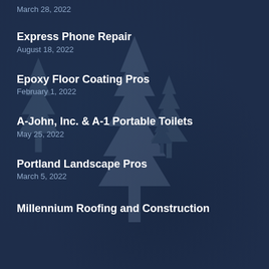March 28, 2022
Express Phone Repair
August 18, 2022
Epoxy Floor Coating Pros
February 1, 2022
A-John, Inc. & A-1 Portable Toilets
May 25, 2022
Portland Landscape Pros
March 5, 2022
Millennium Roofing and Construction